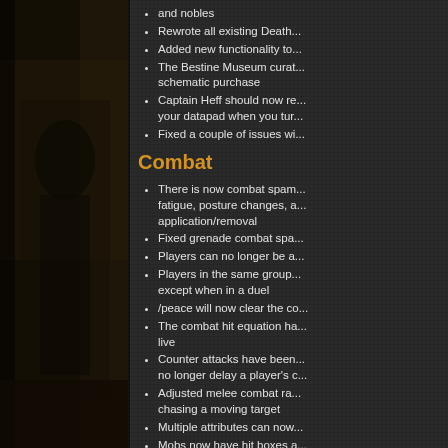[Figure (photo): Dark brownish background panel on the left side, showing a figure or character in a dimly lit scene.]
and nobles
Rewrote all existing Death ... with it
Added new functionality to ...
The Bestine Museum curat... schematic purchase
Captain Heff should now re... your datapad when you tur...
Fixed a couple of issues wi...
Combat
There is now combat spam... fatigue, posture changes, a... application/removal
Fixed grenade combat spa...
Players can no longer be a...
Players in the same group ... except when in a duel
/peace will now clear the co...
The combat hit equation ha... live
Counter attacks have been... no longer delay a player's c...
Adjusted melee combat ra... chasing a moving target
Multiple attributes can now...
Mobs now have hit boxes a... to stand inside of larger cre...
Added generic weapon typ...
fix some issues where...